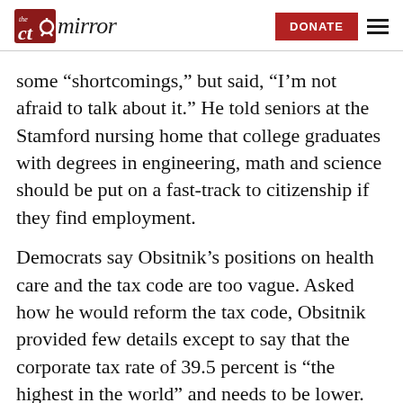the ct mirror — DONATE
some “shortcomings,” but said, “I’m not afraid to talk about it.” He told seniors at the Stamford nursing home that college graduates with degrees in engineering, math and science should be put on a fast-track to citizenship if they find employment.
Democrats say Obsitnik’s positions on health care and the tax code are too vague. Asked how he would reform the tax code, Obsitnik provided few details except to say that the corporate tax rate of 39.5 percent is “the highest in the world” and needs to be lower.